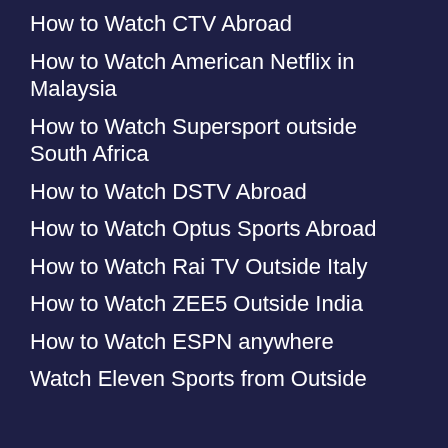How to Watch CTV Abroad
How to Watch American Netflix in Malaysia
How to Watch Supersport outside South Africa
How to Watch DSTV Abroad
How to Watch Optus Sports Abroad
How to Watch Rai TV Outside Italy
How to Watch ZEE5 Outside India
How to Watch ESPN anywhere
Watch Eleven Sports from Outside